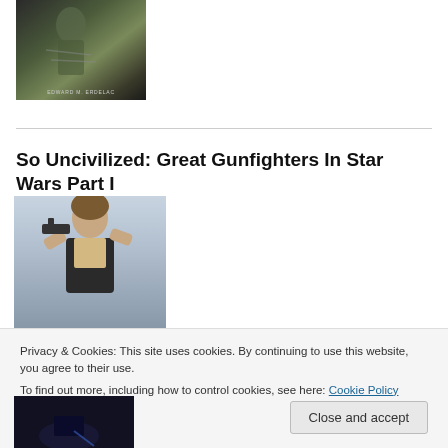[Figure (photo): Book cover image showing dark fantasy/sci-fi artwork with a figure in chains, author name EDWARD M. ERDELAC at bottom]
[Figure (photo): Photo of Han Solo (Harrison Ford) character from Star Wars holding a blaster gun, against light background]
So Uncivilized: Great Gunfighters In Star Wars Part I
Privacy & Cookies: This site uses cookies. By continuing to use this website, you agree to their use.
To find out more, including how to control cookies, see here: Cookie Policy
[Figure (photo): Partial image at bottom, dark tones, appears to be another Star Wars related image]